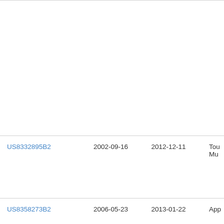| Patent Number | Filed | Issued | Title |
| --- | --- | --- | --- |
| US8332895B2 | 2002-09-16 | 2012-12-11 | Tou Mu |
| US8358273B2 | 2006-05-23 | 2013-01-22 | App |
| US8387093B2 | 2002-08-23 | 2013-02-26 | Mic Cor |
| US8396800B1 | 2003-11-03 | 2013-03-12 | Jan |